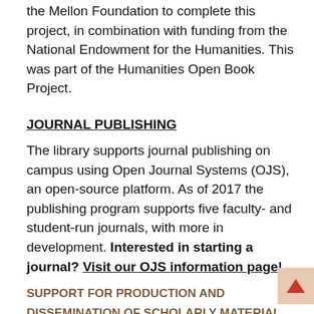Northwestern Library was awarded $50,000 from the Mellon Foundation to complete this project, in combination with funding from the National Endowment for the Humanities. This was part of the Humanities Open Book Project.
JOURNAL PUBLISHING
The library supports journal publishing on campus using Open Journal Systems (OJS), an open-source platform. As of 2017 the publishing program supports five faculty- and student-run journals, with more in development. Interested in starting a journal? Visit our OJS information page!
SUPPORT FOR PRODUCTION AND DISSEMINATION OF SCHOLARLY MATERIAL
Publishing activities on campus produce scholarly